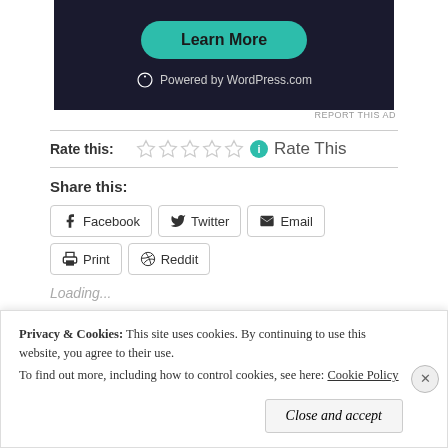[Figure (screenshot): Dark-themed ad banner with 'Learn More' teal button and 'Powered by WordPress.com' text with WordPress logo]
REPORT THIS AD
Rate this:  ★★★★★ ℹ Rate This
Share this:
Facebook  Twitter  Email  Print  Reddit
Loading...
Privacy & Cookies:  This site uses cookies. By continuing to use this website, you agree to their use.
To find out more, including how to control cookies, see here: Cookie Policy
Close and accept